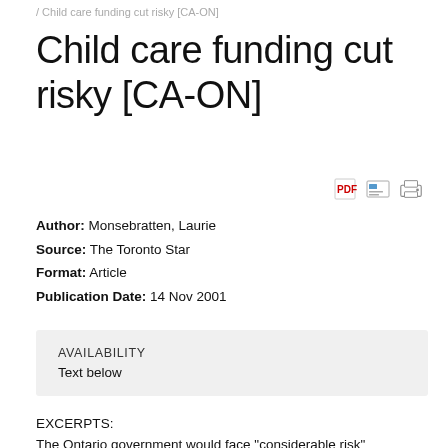/ Child care funding cut risky [CA-ON]
Child care funding cut risky [CA-ON]
Author: Monsebratten, Laurie
Source: The Toronto Star
Format: Article
Publication Date: 14 Nov 2001
AVAILABILITY
Text below
EXCERPTS:
The Ontario government would face "considerable risk"